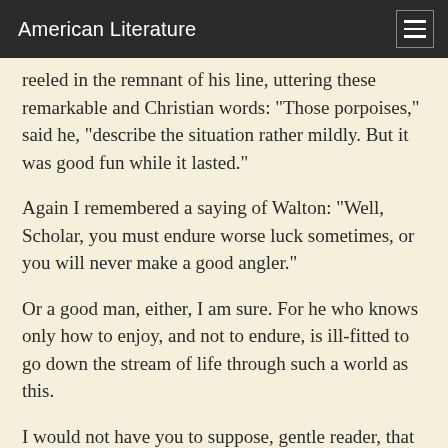American Literature
reeled in the remnant of his line, uttering these remarkable and Christian words: "Those porpoises," said he, "describe the situation rather mildly. But it was good fun while it lasted."
Again I remembered a saying of Walton: "Well, Scholar, you must endure worse luck sometimes, or you will never make a good angler."
Or a good man, either, I am sure. For he who knows only how to enjoy, and not to endure, is ill-fitted to go down the stream of life through such a world as this.
I would not have you to suppose, gentle reader, that